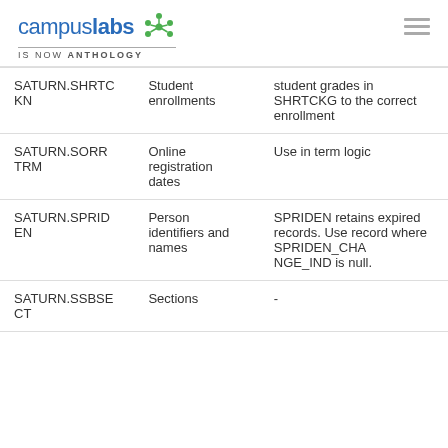campuslabs IS NOW ANTHOLOGY
| Table | Description | Notes |
| --- | --- | --- |
| SATURN.SHRTCKN | Student enrollments | student grades in SHRTCKG to the correct enrollment |
| SATURN.SORRTRM | Online registration dates | Use in term logic |
| SATURN.SPRIDEN | Person identifiers and names | SPRIDEN retains expired records. Use record where SPRIDEN_CHANGE_IND is null. |
| SATURN.SSBSECT | Sections | - |